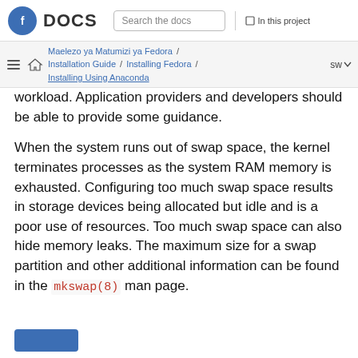Fedora DOCS | Search the docs | In this project
Maelezo ya Matumizi ya Fedora / Installation Guide / Installing Fedora / Installing Using Anaconda | sw
workload. Application providers and developers should be able to provide some guidance.
When the system runs out of swap space, the kernel terminates processes as the system RAM memory is exhausted. Configuring too much swap space results in storage devices being allocated but idle and is a poor use of resources. Too much swap space can also hide memory leaks. The maximum size for a swap partition and other additional information can be found in the mkswap(8) man page.